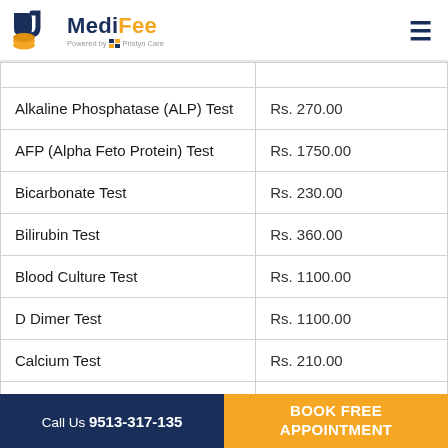MediFee - Powered by Pristyn Care
| Test Name | Price |
| --- | --- |
| Alkaline Phosphatase (ALP) Test | Rs. 270.00 |
| AFP (Alpha Feto Protein) Test | Rs. 1750.00 |
| Bicarbonate Test | Rs. 230.00 |
| Bilirubin Test | Rs. 360.00 |
| Blood Culture Test | Rs. 1100.00 |
| D Dimer Test | Rs. 1100.00 |
| Calcium Test | Rs. 210.00 |
| Chloride Test | Rs. 320.00 |
Call Us 9513-317-135 | BOOK FREE APPOINTMENT